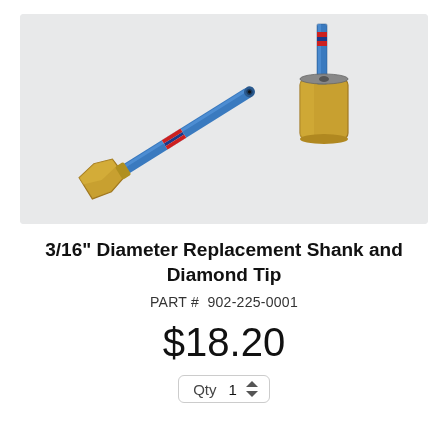[Figure (photo): Product photo showing two brass-fitted 3/16-inch diameter replacement shanks with blue diamond-tipped rods, one assembled diagonally and one upright showing the cap, on a light grey background.]
3/16" Diameter Replacement Shank and Diamond Tip
PART #  902-225-0001
$18.20
Qty  1